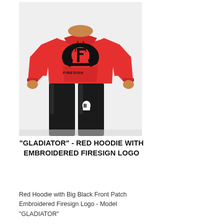[Figure (photo): A man wearing a red hoodie with a large black embroidered Firesign logo on the chest and black athletic pants with a small white Firesign logo on the left leg. The background is white/light grey.]
"GLADIATOR" - RED HOODIE WITH EMBROIDERED FIRESIGN LOGO
Red Hoodie with Big Black Front Patch Embroidered Firesign Logo - Model "GLADIATOR"